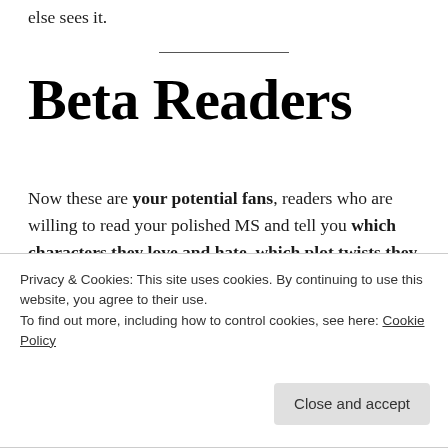else sees it.
Beta Readers
Now these are your potential fans, readers who are willing to read your polished MS and tell you which characters they love and hate, which plot twists they saw coming a mile off, and which romantic relationships felt forced. Beta readers probably won't proofread, they might not even suggest any edits, but they will tell you what they
Privacy & Cookies: This site uses cookies. By continuing to use this website, you agree to their use.
To find out more, including how to control cookies, see here: Cookie Policy
offer to beta read their work in exchange for them